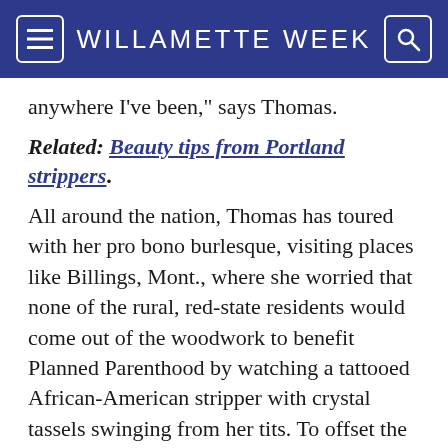WILLAMETTE WEEK
anywhere I've been," says Thomas.
Related: Beauty tips from Portland strippers.
All around the nation, Thomas has toured with her pro bono burlesque, visiting places like Billings, Mont., where she worried that none of the rural, red-state residents would come out of the woodwork to benefit Planned Parenthood by watching a tattooed African-American stripper with crystal tassels swinging from her tits. To offset the cost of doing fundraisers, the girls perform straight burlesque shows as they travel through cities including Salt Lake City, Cl...